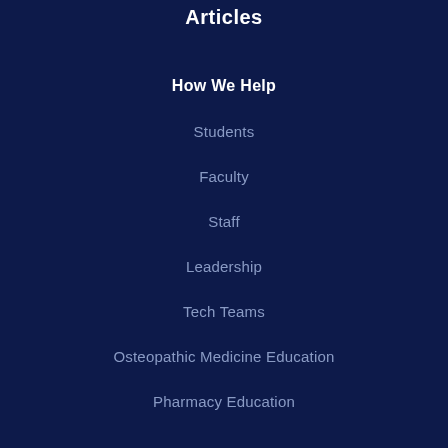Articles
How We Help
Students
Faculty
Staff
Leadership
Tech Teams
Osteopathic Medicine Education
Pharmacy Education